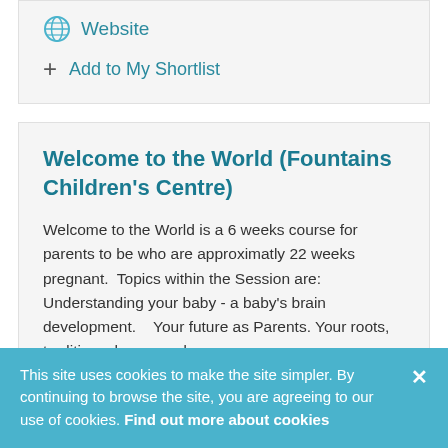Website
+ Add to My Shortlist
Welcome to the World (Fountains Children's Centre)
Welcome to the World is a 6 weeks course for parents to be who are approximatly 22 weeks pregnant.  Topics within the Session are:  Understanding your baby - a baby's brain development.    Your future as Parents. Your roots, traditions, hopes and
This site uses cookies to make the site simpler. By continuing to browse the site, you are agreeing to our use of cookies. Find out more about cookies